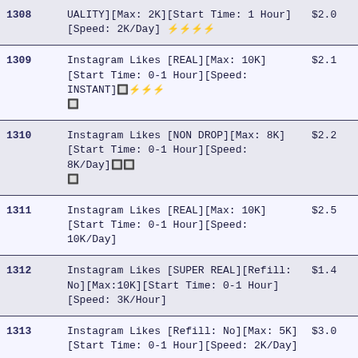| ID | Description | Price |
| --- | --- | --- |
| 1308 | UALITY][Max: 2K][Start Time: 1 Hour][Speed: 2K/Day] ⚡⚡⚡⚡ | $2.0 |
| 1309 | Instagram Likes [REAL][Max: 10K][Start Time: 0-1 Hour][Speed: INSTANT] 🔲⚡⚡⚡ 🔲 | $2.1 |
| 1310 | Instagram Likes [NON DROP][Max: 8K][Start Time: 0-1 Hour][Speed: 8K/Day] 🔲🔲 🔲 | $2.2 |
| 1311 | Instagram Likes [REAL][Max: 10K][Start Time: 0-1 Hour][Speed: 10K/Day] | $2.5 |
| 1312 | Instagram Likes [SUPER REAL][Refill: No][Max:10K][Start Time: 0-1 Hour][Speed: 3K/Hour] | $1.4 |
| 1313 | Instagram Likes [Refill: No][Max: 5K][Start Time: 0-1 Hour][Speed: 2K/Day] | $3.0 |
| 1314 | Instagram Likes [NON DROP][Max: 5K][Start Time: 0-1 Hour][Speed: 20K/Day] | $3.1 |